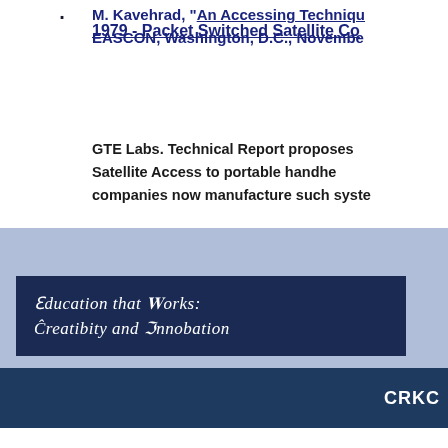M. Kavehrad, "An Accessing Technique... EASCON, Washington, D.C., November...
1979 - Packet Switched Satellite Co...
GTE Labs. Technical Report proposes Satellite Access to portable handheld... companies now manufacture such syste...
[Figure (other): Dark navy blue banner with old-English/blackletter style text reading: Education that Works: Creativity and Innovation, on a blue-grey background]
CRKC